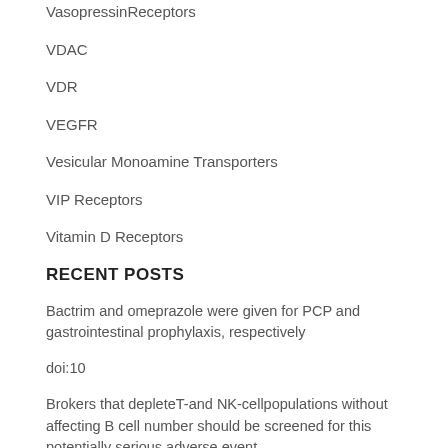VasopressinReceptors
VDAC
VDR
VEGFR
Vesicular Monoamine Transporters
VIP Receptors
Vitamin D Receptors
RECENT POSTS
Bactrim and omeprazole were given for PCP and gastrointestinal prophylaxis, respectively
doi:10
Brokers that depleteT-and NK-cellpopulations without affecting B cell number should be screened for this potentially serious adverse event
It is not clear whether this alteration is due to decreased